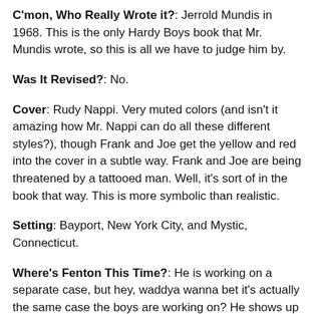C'mon, Who Really Wrote it?: Jerrold Mundis in 1968. This is the only Hardy Boys book that Mr. Mundis wrote, so this is all we have to judge him by.
Was It Revised?: No.
Cover: Rudy Nappi. Very muted colors (and isn't it amazing how Mr. Nappi can do all these different styles?), though Frank and Joe get the yellow and red into the cover in a subtle way. Frank and Joe are being threatened by a tattooed man. Well, it's sort of in the book that way. This is more symbolic than realistic.
Setting: Bayport, New York City, and Mystic, Connecticut.
Where's Fenton This Time?: He is working on a separate case, but hey, waddya wanna bet it's actually the same case the boys are working on? He shows up halfway through